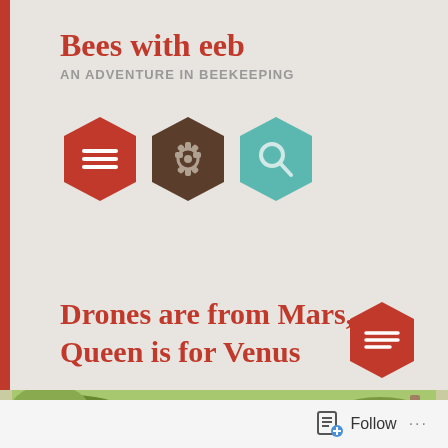Bees with eeb
AN ADVENTURE IN BEEKEEPING
[Figure (illustration): Three hexagon icons: red hexagon with menu/list lines, brown hexagon with gear/settings icon, teal hexagon with magnifying glass/search icon]
Drones are from Mars, Queen is for Venus
[Figure (illustration): Red hexagon icon with menu/text lines on right side]
[Figure (photo): Garden/outdoor photo showing beehives and vegetation with wooden fence in background]
Follow ...